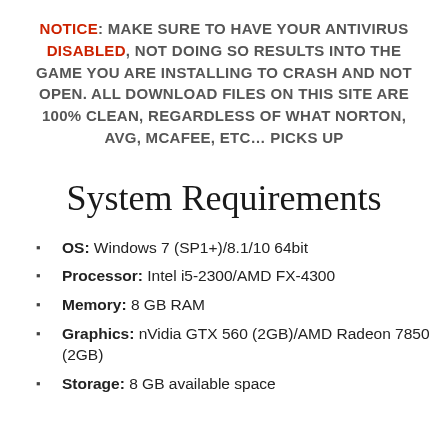NOTICE: MAKE SURE TO HAVE YOUR ANTIVIRUS DISABLED, NOT DOING SO RESULTS INTO THE GAME YOU ARE INSTALLING TO CRASH AND NOT OPEN. ALL DOWNLOAD FILES ON THIS SITE ARE 100% CLEAN, REGARDLESS OF WHAT NORTON, AVG, MCAFEE, ETC… PICKS UP
System Requirements
OS: Windows 7 (SP1+)/8.1/10 64bit
Processor: Intel i5-2300/AMD FX-4300
Memory: 8 GB RAM
Graphics: nVidia GTX 560 (2GB)/AMD Radeon 7850 (2GB)
Storage: 8 GB available space